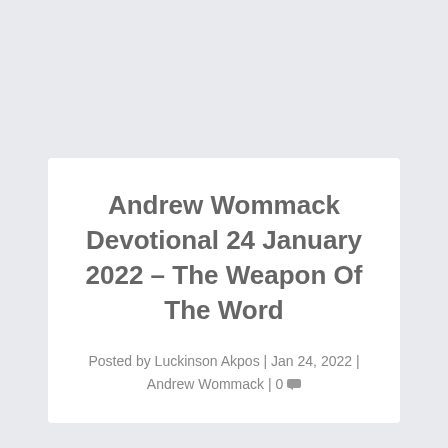Andrew Wommack Devotional 24 January 2022 – The Weapon Of The Word
Posted by Luckinson Akpos | Jan 24, 2022 | Andrew Wommack | 0